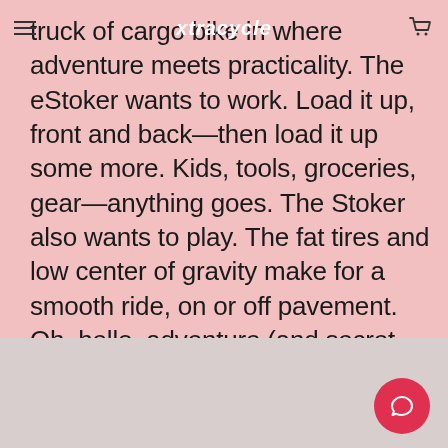xtracycle
truck of cargo bike in where adventure meets practicality. The eStoker wants to work. Load it up, front and back—then load it up some more. Kids, tools, groceries, gear—anything goes. The Stoker also wants to play. The fat tires and low center of gravity make for a smooth ride, on or off pavement. Oh, hello, adventure (and secret short-cuts).
Shop this model